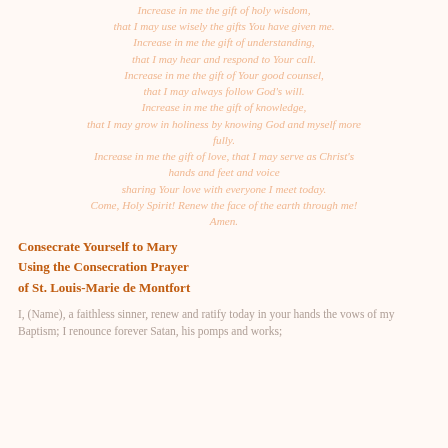Increase in me the gift of holy wisdom,
that I may use wisely the gifts You have given me.
Increase in me the gift of understanding,
that I may hear and respond to Your call.
Increase in me the gift of Your good counsel,
that I may always follow God's will.
Increase in me the gift of knowledge,
that I may grow in holiness by knowing God and myself more fully.
Increase in me the gift of love, that I may serve as Christ's hands and feet and voice
sharing Your love with everyone I meet today.
Come, Holy Spirit! Renew the face of the earth through me!
Amen.
Consecrate Yourself to Mary
Using the Consecration Prayer
of St. Louis-Marie de Montfort
I, (Name), a faithless sinner, renew and ratify today in your hands the vows of my Baptism; I renounce forever Satan, his pomps and works;